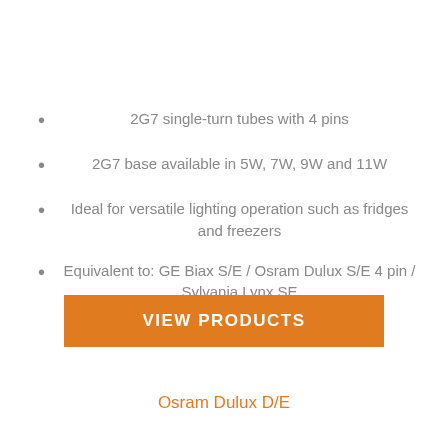2G7 single-turn tubes with 4 pins
2G7 base available in 5W, 7W, 9W and 11W
Ideal for versatile lighting operation such as fridges and freezers
Equivalent to: GE Biax S/E / Osram Dulux S/E 4 pin / Sylvania Lynx SE
VIEW PRODUCTS
Osram Dulux D/E